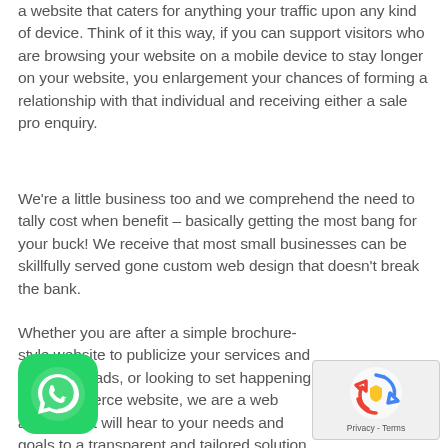a website that caters for anything your traffic upon any kind of device. Think of it this way, if you can support visitors who are browsing your website on a mobile device to stay longer on your website, you enlargement your chances of forming a relationship with that individual and receiving either a sale pro enquiry.
We're a little business too and we comprehend the need to tally cost when benefit – basically getting the most bang for your buck! We receive that most small businesses can be skillfully served gone custom web design that doesn't break the bank.
Whether you are after a simple brochure-style website to publicize your services and generate leads, or looking to set happening an eCommerce website, we are a web agency that will hear to your needs and goals to a transparent and tailored solution.
[Figure (logo): WhatsApp green logo icon with white phone handset on green rounded square background]
[Figure (logo): reCAPTCHA logo with Privacy and Terms text below]